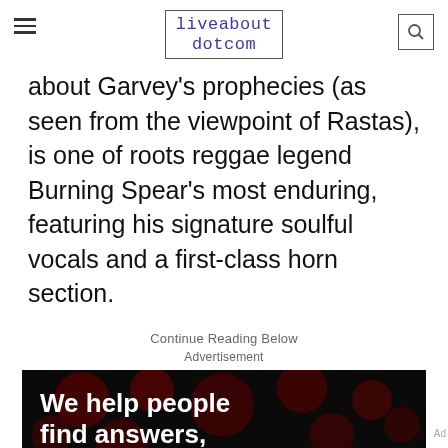liveabout dotcom
about Garvey's prophecies (as seen from the viewpoint of Rastas), is one of roots reggae legend Burning Spear's most enduring, featuring his signature soulful vocals and a first-class horn section.
Continue Reading Below
Advertisement
[Figure (screenshot): Advertisement banner with dark background and red circular dot pattern. Large bold white text reads 'We help people find answers, solve problems'. Bottom bar shows 'We help people find answers, solve problems and get inspired.' with Dotdash Meredith logo.]